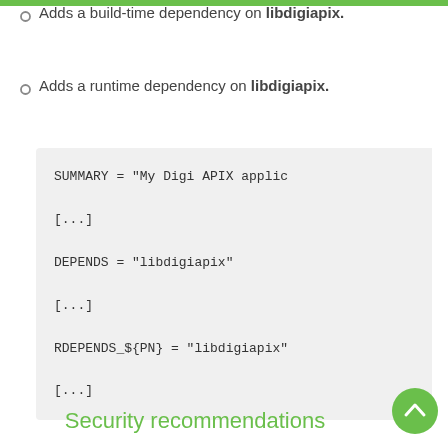Adds a build-time dependency on libdigiapix.
Adds a runtime dependency on libdigiapix.
SUMMARY = "My Digi APIX applic…

[...]

DEPENDS = "libdigiapix"

[...]

RDEPENDS_${PN} = "libdigiapix"

[...]
Security recommendations